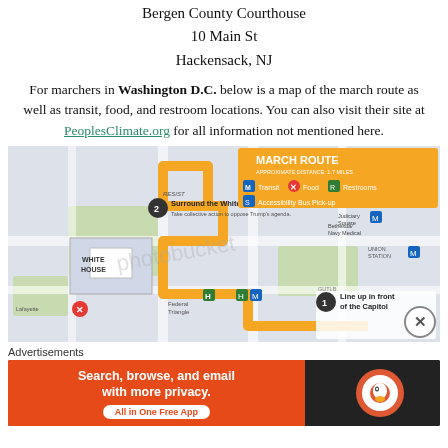Bergen County Courthouse
10 Main St
Hackensack, NJ
For marchers in Washington D.C. below is a map of the march route as well as transit, food, and restroom locations. You can also visit their site at PeoplesClimate.org for all information not mentioned here.
[Figure (map): March Route map showing Washington D.C. area with route highlighted in orange/yellow. Shows White House, Capitol, Ellipse/Federal Triangle, Bethesda Navy Medical. Legend shows Transit, Food, Restrooms, Accessibility Bus Pick-up icons. Step 1: Line up in front of the Capitol. Step 2: RESIST Surround the White House - Take collective action to oppose Trump's agenda.]
Advertisements
[Figure (screenshot): DuckDuckGo advertisement banner: Search, browse, and email with more privacy. All in One Free App. Orange and dark background with DuckDuckGo logo.]